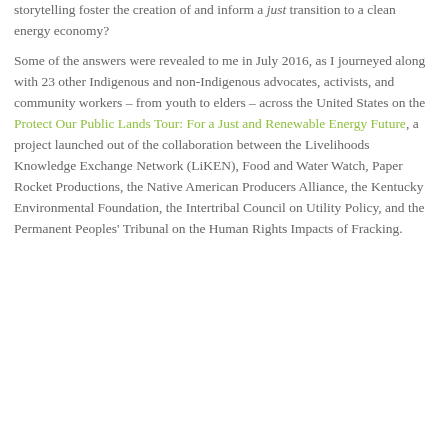storytelling foster the creation of and inform a just transition to a clean energy economy?
Some of the answers were revealed to me in July 2016, as I journeyed along with 23 other Indigenous and non-Indigenous advocates, activists, and community workers – from youth to elders – across the United States on the Protect Our Public Lands Tour: For a Just and Renewable Energy Future, a project launched out of the collaboration between the Livelihoods Knowledge Exchange Network (LiKEN), Food and Water Watch, Paper Rocket Productions, the Native American Producers Alliance, the Kentucky Environmental Foundation, the Intertribal Council on Utility Policy, and the Permanent Peoples' Tribunal on the Human Rights Impacts of Fracking.